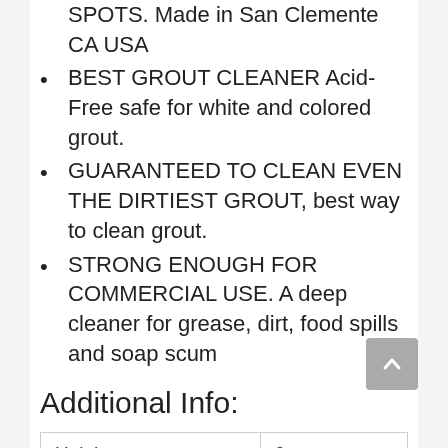SPOTS. Made in San Clemente CA USA
BEST GROUT CLEANER Acid-Free safe for white and colored grout.
GUARANTEED TO CLEAN EVEN THE DIRTIEST GROUT, best way to clean grout.
STRONG ENOUGH FOR COMMERCIAL USE. A deep cleaner for grease, dirt, food spills and soap scum
Additional Info:
| Height | 9 |
| --- | --- |